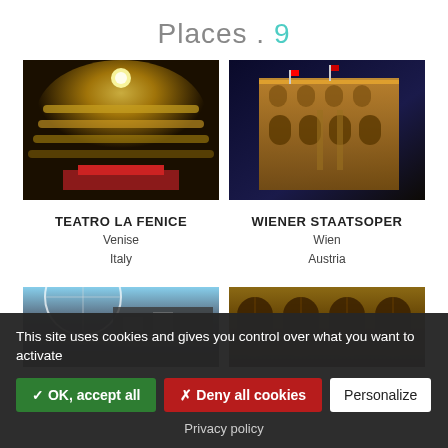Places . 9
[Figure (photo): Interior of Teatro La Fenice opera house with golden balconies and audience]
TEATRO LA FENICE
Venise
Italy
[Figure (photo): Exterior of Wiener Staatsoper at night with illuminated facade]
WIENER STAATSOPER
Wien
Austria
[Figure (photo): Bottom left photo partially visible: building with Ferris wheel]
[Figure (photo): Bottom right photo partially visible: arched windows of a building]
This site uses cookies and gives you control over what you want to activate
✓ OK, accept all
✗ Deny all cookies
Personalize
Privacy policy